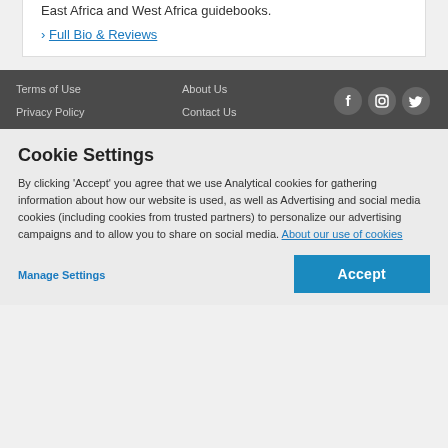East Africa and West Africa guidebooks.
› Full Bio & Reviews
Terms of Use | Privacy Policy | About Us | Contact Us | [Facebook] [Instagram] [Twitter]
Cookie Settings
By clicking 'Accept' you agree that we use Analytical cookies for gathering information about how our website is used, as well as Advertising and social media cookies (including cookies from trusted partners) to personalize our advertising campaigns and to allow you to share on social media. About our use of cookies
Manage Settings
Accept